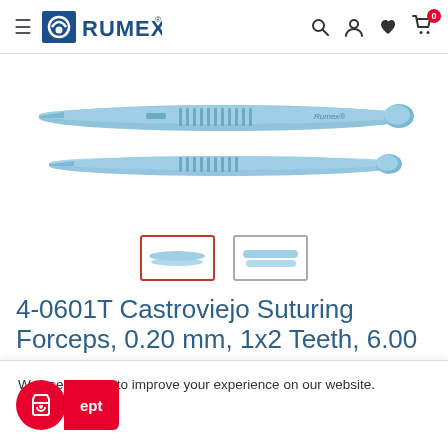[Figure (logo): Rumex brand logo with blue circular icon and RUMEX text in blue, with registered trademark symbol]
[Figure (photo): Castroviejo Suturing Forceps surgical instrument, light blue/titanium colored, tweezers-style, shown from the side with fine tip and textured grip]
[Figure (other): Two thumbnail image selectors below main product image; first thumbnail is selected (red border) showing side profile of forceps tips; second thumbnail shows handle/body view]
4-0601T Castroviejo Suturing Forceps, 0.20 mm, 1x2 Teeth, 6.00
We use cookies to improve your experience on our website.
Accept